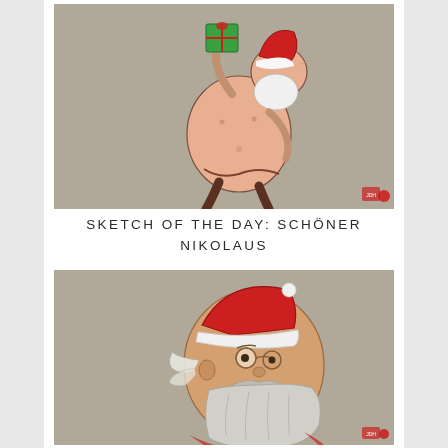[Figure (illustration): Sketch of a round, nearly naked Santa Claus figure holding a wrapped green gift box above his head, drawn in a loose sketchy style on a warm grey background. Santa wears a red hat and boots but no shirt, showing a plump body. A small artist seal stamp is in the bottom right corner.]
SKETCH OF THE DAY: SCHÖNER NIKOLAUS
[Figure (illustration): Close-up portrait sketch of Santa Claus (Nikolaus) wearing a red hat with white trim, round spectacles, and a long grey beard and mustache. The sketch is done in a loose, expressive style on a warm grey background. A small artist seal stamp is in the bottom right corner.]